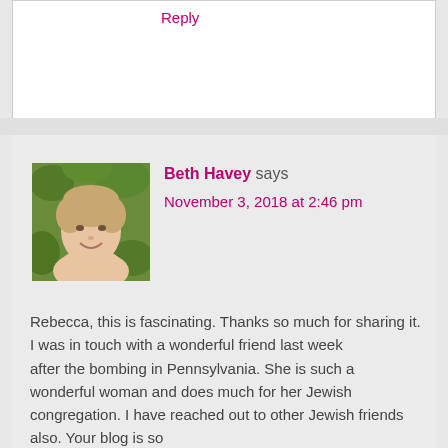Reply
[Figure (photo): Portrait photo of Beth Havey, a woman with short light brown hair, smiling, with green foliage in the background]
Beth Havey says
November 3, 2018 at 2:46 pm
Rebecca, this is fascinating. Thanks so much for sharing it. I was in touch with a wonderful friend last week after the bombing in Pennsylvania. She is such a wonderful woman and does much for her Jewish congregation. I have reached out to other Jewish friends also. Your blog is so